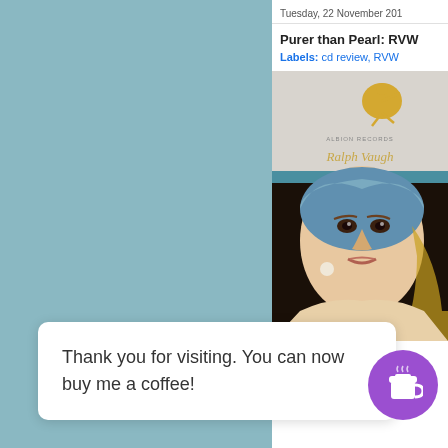Tuesday, 22 November 201
Purer than Pearl: RVW
Labels: cd review, RVW
[Figure (photo): CD album cover for Ralph Vaughan Williams - Albion Records, featuring Girl with a Pearl Earring by Vermeer, partially visible text 'RALPH VAUGH']
Thank you for visiting. You can now buy me a coffee!
[Figure (illustration): Purple circular buy-me-a-coffee button with white coffee cup icon]